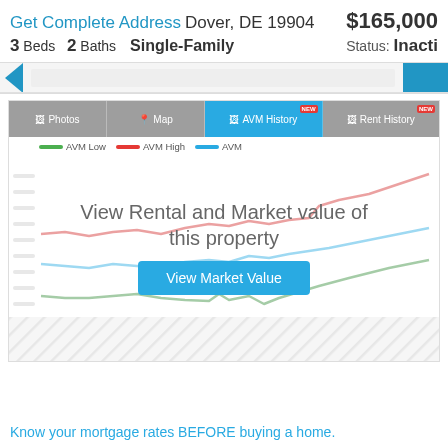Get Complete Address Dover, DE 19904 $165,000
3 Beds  2 Baths  Single-Family  Status: Inactive
[Figure (screenshot): Property listing page showing AVM History chart with navigation tabs (Photos, Map, AVM History [NEW], Rent History [NEW]). Chart shows three lines: AVM Low (green), AVM High (red), AVM (blue) over time. A blurred overlay reads 'View Rental and Market value of this property' with a 'View Market Value' button. Bottom of chart shows hatched/blurred area hiding x-axis labels.]
Know your mortgage rates BEFORE buying a home.